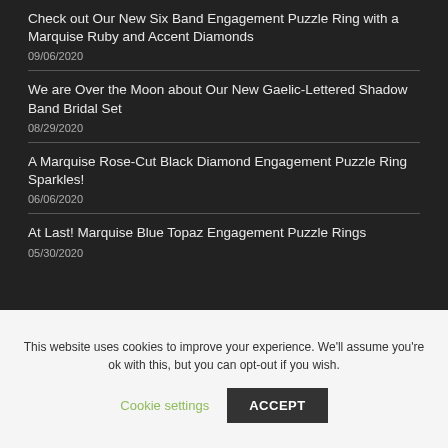Check out Our New Six Band Engagement Puzzle Ring with a Marquise Ruby and Accent Diamonds
09/06/2020
We are Over the Moon about Our New Gaelic-Lettered Shadow Band Bridal Set
08/29/2020
A Marquise Rose-Cut Black Diamond Engagement Puzzle Ring Sparkles!
06/06/2020
At Last! Marquise Blue Topaz Engagement Puzzle Rings
05/30/2020
This website uses cookies to improve your experience. We'll assume you're ok with this, but you can opt-out if you wish.
Cookie settings  ACCEPT